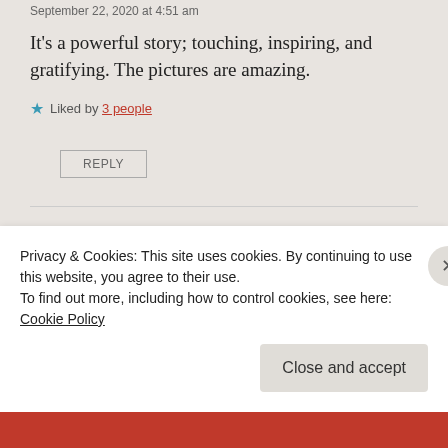September 22, 2020 at 4:51 am
It's a powerful story; touching, inspiring, and gratifying. The pictures are amazing.
★ Liked by 3 people
REPLY
unholypursuit
September 22, 2020 at 5:10 pm
Privacy & Cookies: This site uses cookies. By continuing to use this website, you agree to their use.
To find out more, including how to control cookies, see here:
Cookie Policy
Close and accept